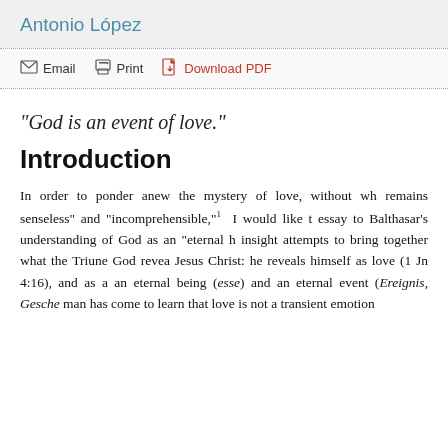Antonio López
Email  Print  Download PDF
"God is an event of love."
Introduction
In order to ponder anew the mystery of love, without wh remains senseless" and "incomprehensible,"1  I would like t essay to Balthasar's understanding of God as an "eternal h insight attempts to bring together what the Triune God revea Jesus Christ: he reveals himself as love (1 Jn 4:16), and as a an eternal being (esse) and an eternal event (Ereignis, Gesche man has come to learn that love is not a transient emotion